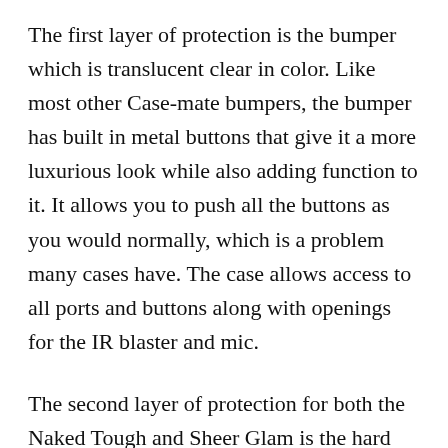The first layer of protection is the bumper which is translucent clear in color. Like most other Case-mate bumpers, the bumper has built in metal buttons that give it a more luxurious look while also adding function to it. It allows you to push all the buttons as you would normally, which is a problem many cases have. The case allows access to all ports and buttons along with openings for the IR blaster and mic.
The second layer of protection for both the Naked Tough and Sheer Glam is the hard shell portion of the case where it wraps around the entire phone. The hard shell here wraps all the way around and goes over the shock absorbent bumper. This means the Galaxy Note 4 is completely protected on the...